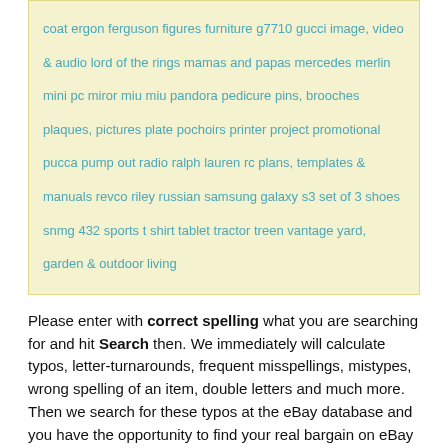coat ergon ferguson figures furniture g7710 gucci image, video & audio lord of the rings mamas and papas mercedes merlin mini pc miror miu miu pandora pedicure pins, brooches plaques, pictures plate pochoirs printer project promotional pucca pump out radio ralph lauren rc plans, templates & manuals revco riley russian samsung galaxy s3 set of 3 shoes snmg 432 sports t shirt tablet tractor treen vantage yard, garden & outdoor living
Please enter with correct spelling what you are searching for and hit Search then. We immediately will calculate typos, letter-turnarounds, frequent misspellings, mistypes, wrong spelling of an item, double letters and much more. Then we search for these typos at the eBay database and you have the opportunity to find your real bargain on eBay with this little-noticed auctions.
Top keywords in this category: